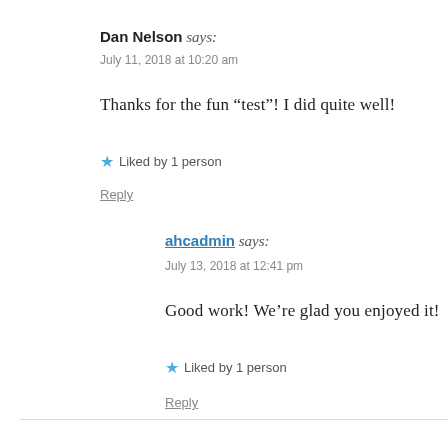Dan Nelson says:
July 11, 2018 at 10:20 am
Thanks for the fun “test”! I did quite well!
★ Liked by 1 person
Reply
ahcadmin says:
July 13, 2018 at 12:41 pm
Good work! We’re glad you enjoyed it!
★ Liked by 1 person
Reply